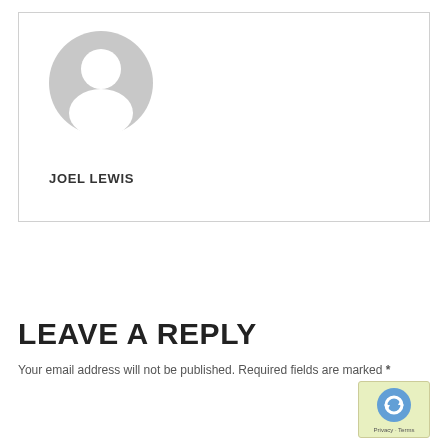[Figure (illustration): Generic user avatar placeholder — grey circle with white silhouette of a person (head and shoulders)]
JOEL LEWIS
LEAVE A REPLY
Your email address will not be published. Required fields are marked *